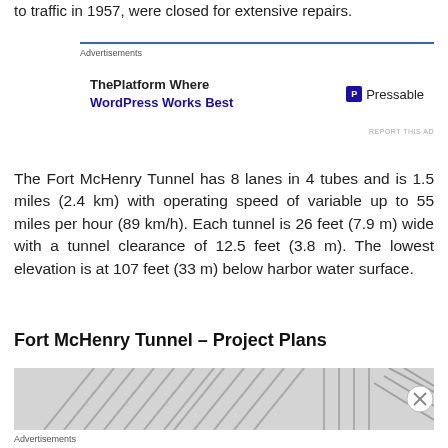to traffic in 1957, were closed for extensive repairs.
[Figure (other): Advertisement banner for Pressable WordPress hosting - 'ThePlatform Where WordPress Works Best' with Pressable logo]
The Fort McHenry Tunnel has 8 lanes in 4 tubes and is 1.5 miles (2.4 km) with operating speed of variable up to 55 miles per hour (89 km/h). Each tunnel is 26 feet (7.9 m) wide with a tunnel clearance of 12.5 feet (3.8 m). The lowest elevation is at 107 feet (33 m) below harbor water surface.
Fort McHenry Tunnel – Project Plans
[Figure (engineering-diagram): Partial view of Fort McHenry Tunnel project plans engineering diagram showing tunnel cross-section schematic in grayscale]
Advertisements